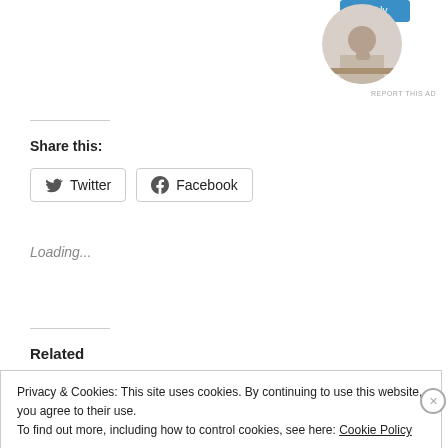[Figure (photo): Circular cropped photo of a person sitting at a desk, thinking with hand on chin]
REPORT THIS AD
Share this:
Twitter  Facebook
Loading...
Related
Privacy & Cookies: This site uses cookies. By continuing to use this website, you agree to their use.
To find out more, including how to control cookies, see here: Cookie Policy
Close and accept